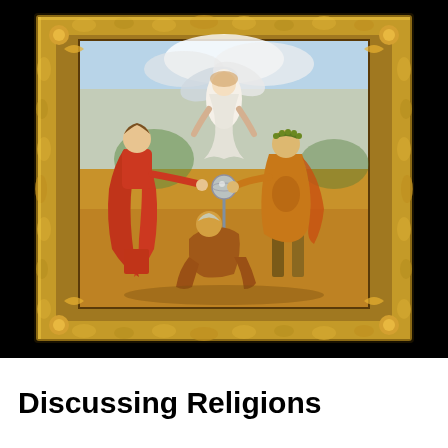[Figure (illustration): A classical painting in an ornate gold baroque frame depicting three figures: a robed figure in red on the left, a winged angel above in white, and a warrior figure on the right in orange/gold armor. A seated elderly figure is at the bottom center. The scene appears to be a religious or mythological painting in the style of Rubens.]
Discussing Religions